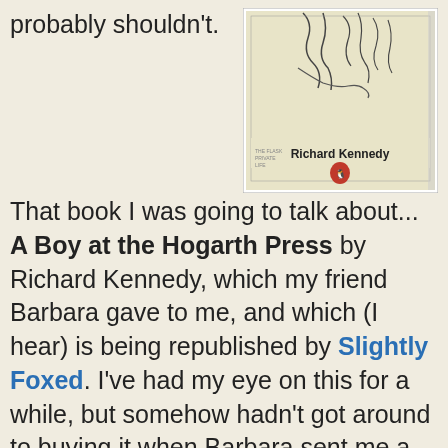probably shouldn't.
[Figure (photo): Cover of the book 'A Boy at the Hogarth Press' by Richard Kennedy, showing a line drawing illustration and the author's name with a Penguin Books logo.]
That book I was going to talk about... A Boy at the Hogarth Press by Richard Kennedy, which my friend Barbara gave to me, and which (I hear) is being republished by Slightly Foxed. I've had my eye on this for a while, but somehow hadn't got around to buying it when Barbara sent me a copy, and so I was rather delighted. The list of Woolf-related books I've read isn't small, and it is growing - I like to dip back into Bloomsbury waters every now and then, especially the books which are first-hand, but from the